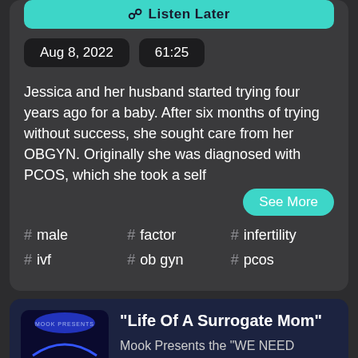Listen Later
Aug 8, 2022   61:25
Jessica and her husband started trying four years ago for a baby. After six months of trying without success, she sought care from her OBGYN. Originally she was diagnosed with PCOS, which she took a self
See More
# male   # factor   # infertility
# ivf   # ob gyn   # pcos
"Life Of A Surrogate Mom"
Mook Presents the "WE NEED ANSWERS" Podcast